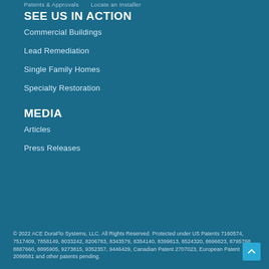Patents & Approvals    Locate an Installer
SEE US IN ACTION
Commercial Buildings
Lead Remediation
Single Family Homes
Specialty Restoration
MEDIA
Articles
Press Releases
© 2022 ACE DuraFlo Systems, LLC. All Rights Reserved. Protected under US Patents 7160574, 7517409, 7858149, 8033242, 8206783, 8343579, 8354140, 8399813, 8524320, 8696823, 8795768, 8887660, 8895905, 9273815, 9352357, 9446429, Canadian Patent 2707023, European Patent 2099581 and other patents pending.